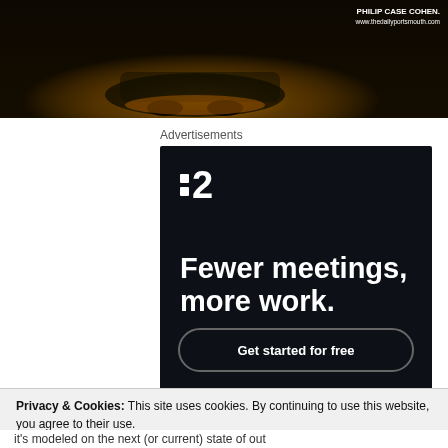[Figure (photo): Dark nighttime photo of a car/vehicle with a yellow-orange light glow beneath it, credited to Philip Case Cohen, www.thedailyportsmouth.com]
Advertisements
[Figure (other): Advertisement for a productivity tool (likely Twist or similar). Dark navy background with logo showing two dots and the number 2. Tagline: 'Fewer meetings, more work.' Button: 'Get started for free']
Privacy & Cookies: This site uses cookies. By continuing to use this website, you agree to their use.
To find out more, including how to control cookies, see here: Cookie Policy
Close and accept
it's modeled on the next (or current) state of out